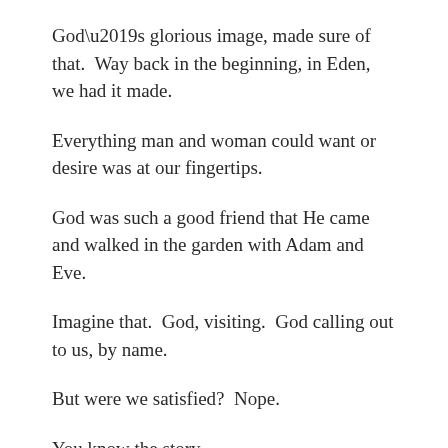God’s glorious image, made sure of that.  Way back in the beginning, in Eden, we had it made.
Everything man and woman could want or desire was at our fingertips.
God was such a good friend that He came and walked in the garden with Adam and Eve.
Imagine that.  God, visiting.  God calling out to us, by name.
But were we satisfied?  Nope.
You know the story.
Temptation